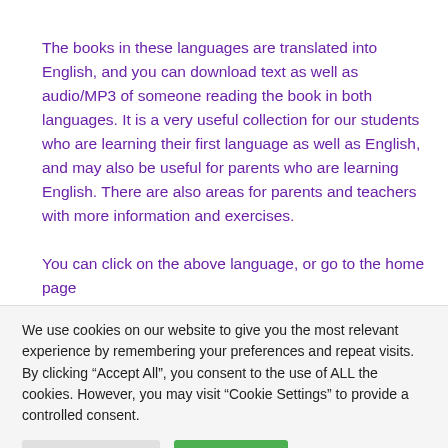The books in these languages are translated into English, and you can download text as well as audio/MP3 of someone reading the book in both languages. It is a very useful collection for our students who are learning their first language as well as English, and may also be useful for parents who are learning English. There are also areas for parents and teachers with more information and exercises.

You can click on the above language, or go to the home page
We use cookies on our website to give you the most relevant experience by remembering your preferences and repeat visits. By clicking “Accept All”, you consent to the use of ALL the cookies. However, you may visit "Cookie Settings" to provide a controlled consent.